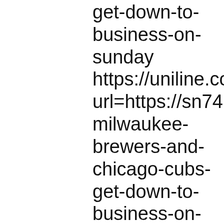get-down-to-business-on-sunday https://uniline.co.nz/Do url=https://sn741138.wix milwaukee-brewers-and-chicago-cubs-get-down-to-business-on-sunday http://warnerdisplays.c